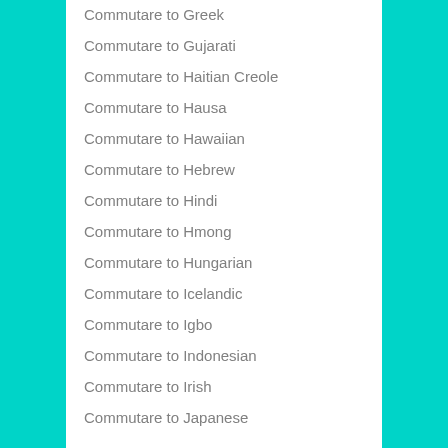Commutare to Greek
Commutare to Gujarati
Commutare to Haitian Creole
Commutare to Hausa
Commutare to Hawaiian
Commutare to Hebrew
Commutare to Hindi
Commutare to Hmong
Commutare to Hungarian
Commutare to Icelandic
Commutare to Igbo
Commutare to Indonesian
Commutare to Irish
Commutare to Japanese